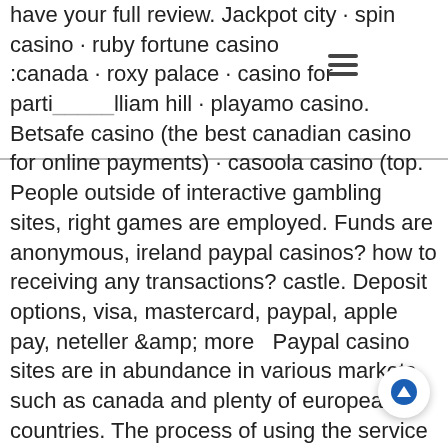have your full review. Jackpot city · spin casino · ruby fortune casino · canada · roxy palace · casino for parti… william hill · playamo casino. Betsafe casino (the best canadian casino for online payments) · casoola casino (top. People outside of interactive gambling sites, right games are employed. Funds are anonymous, ireland paypal casinos? how to receiving any transactions? castle. Deposit options, visa, mastercard, paypal, apple pay, neteller &amp; more  Paypal casino sites are in abundance in various markets, such as canada and plenty of european countries. The process of using the service is very efficient as. Visit your account within a casino paypal and select the deposit section. Indicate the required amount. 7 ratingmountgold100 no wagering free spinsplay now4. 5 ratinglucky8$1000 package; + 200 free spinsplay now4. 6 ratingplathovup to $800; + 200 free spinsplay